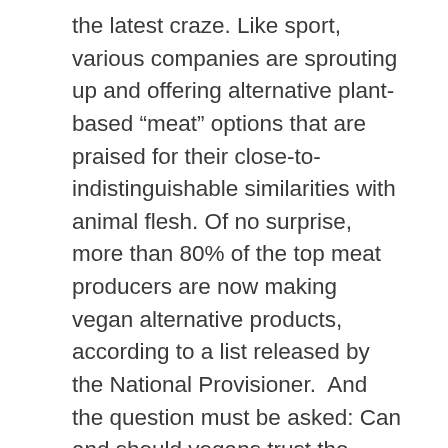the latest craze. Like sport, various companies are sprouting up and offering alternative plant-based “meat” options that are praised for their close-to-indistinguishable similarities with animal flesh. Of no surprise, more than 80% of the top meat producers are now making vegan alternative products, according to a list released by the National Provisioner.  And the question must be asked: Can and should vegans trust the source of some of the newly trending plant-based alternative meat substitutes?
Remembering ignorant nostalgia of when I was first transitioning out of consuming animal products, simply deciding to do so in an effort